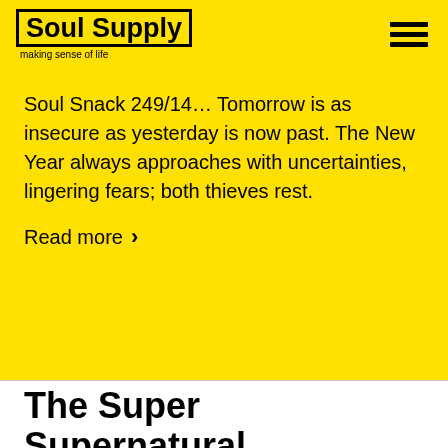Soul Supply — making sense of life
Soul Snack 249/14… Tomorrow is as insecure as yesterday is now past. The New Year always approaches with uncertainties, lingering fears; both thieves rest.
Read more ›
The Super Supernatural
16/10/2014